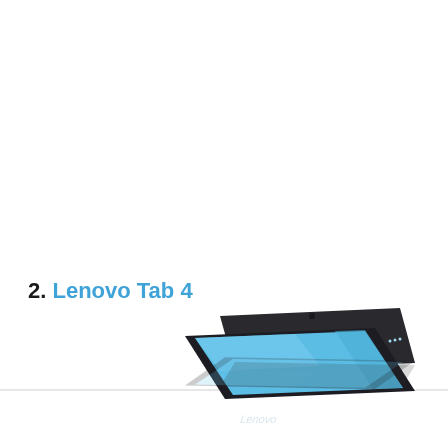2. Lenovo Tab 4
[Figure (photo): Product photo of Lenovo Tab 4 tablet showing two tablet devices angled, one showing the dark back and one showing the blue screen, with a reflection below the dividing line.]